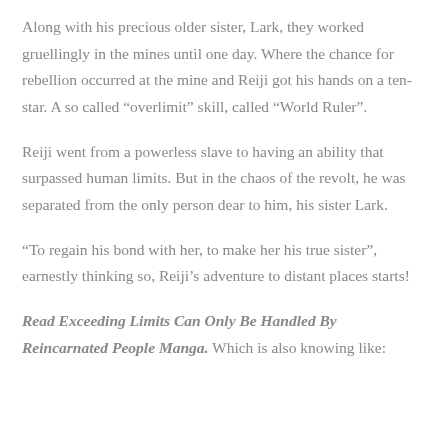Along with his precious older sister, Lark, they worked gruellingly in the mines until one day. Where the chance for rebellion occurred at the mine and Reiji got his hands on a ten-star. A so called “overlimit” skill, called “World Ruler”.
Reiji went from a powerless slave to having an ability that surpassed human limits. But in the chaos of the revolt, he was separated from the only person dear to him, his sister Lark.
“To regain his bond with her, to make her his true sister”, earnestly thinking so, Reiji’s adventure to distant places starts!
Read Exceeding Limits Can Only Be Handled By Reincarnated People Manga. Which is also knowing like: